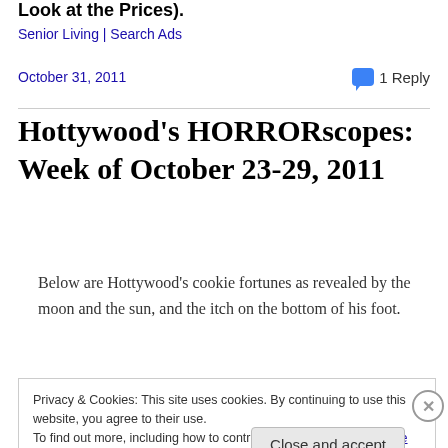Look at the Prices).
Senior Living | Search Ads
October 31, 2011                      1 Reply
Hottywood’s HORRORscopes: Week of October 23-29, 2011
Below are Hottywood’s cookie fortunes as revealed by the moon and the sun, and the itch on the bottom of his foot.
Privacy & Cookies: This site uses cookies. By continuing to use this website, you agree to their use. To find out more, including how to control cookies, see here: Cookie Policy